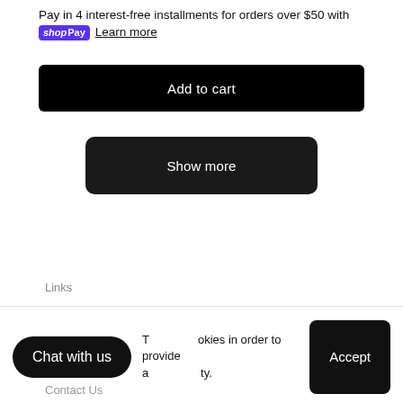Pay in 4 interest-free installments for orders over $50 with shop Pay Learn more
Add to cart
Show more
Links
Chat with us
This website uses cookies in order to provide and functionality.
Accept
Contact Us